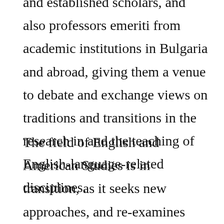and established scholars, and also professors emeriti from academic institutions in Bulgaria and abroad, giving them a venue to debate and exchange views on traditions and transitions in the research in and the teaching of English-language-related disciplines.
The field of English and American Studies is in transition, as it seeks new approaches, and re-examines older ones, in order to address the multiple issues facing the development of